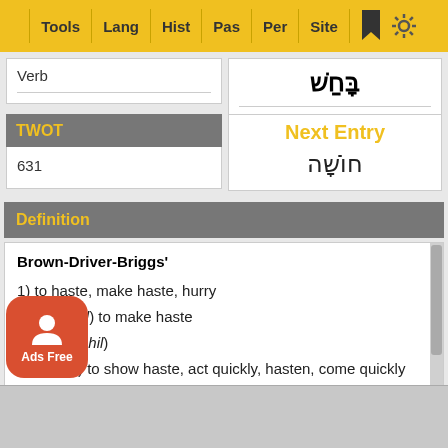Tools | Lang | Hist | Pas | Per | Site
Verb
TWOT
631
Next Entry
חוֹשָׁה
Definition
Brown-Driver-Briggs'
1) to haste, make haste, hurry
1a) (Qal) to make haste
1b) (Hiphil)
1b1) to show haste, act quickly, hasten, come quickly
1b2) to enjoy, be excited